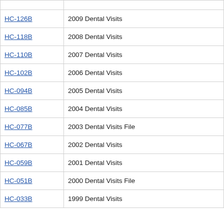| Code | Description |
| --- | --- |
| HC-126B | 2009 Dental Visits |
| HC-118B | 2008 Dental Visits |
| HC-110B | 2007 Dental Visits |
| HC-102B | 2006 Dental Visits |
| HC-094B | 2005 Dental Visits |
| HC-085B | 2004 Dental Visits |
| HC-077B | 2003 Dental Visits File |
| HC-067B | 2002 Dental Visits |
| HC-059B | 2001 Dental Visits |
| HC-051B | 2000 Dental Visits File |
| HC-033B | 1999 Dental Visits |